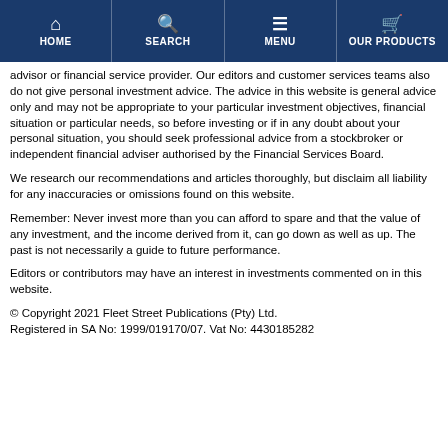HOME | SEARCH | MENU | OUR PRODUCTS
advisor or financial service provider. Our editors and customer services teams also do not give personal investment advice. The advice in this website is general advice only and may not be appropriate to your particular investment objectives, financial situation or particular needs, so before investing or if in any doubt about your personal situation, you should seek professional advice from a stockbroker or independent financial adviser authorised by the Financial Services Board.
We research our recommendations and articles thoroughly, but disclaim all liability for any inaccuracies or omissions found on this website.
Remember: Never invest more than you can afford to spare and that the value of any investment, and the income derived from it, can go down as well as up. The past is not necessarily a guide to future performance.
Editors or contributors may have an interest in investments commented on in this website.
© Copyright 2021 Fleet Street Publications (Pty) Ltd. Registered in SA No: 1999/019170/07. Vat No: 4430185282